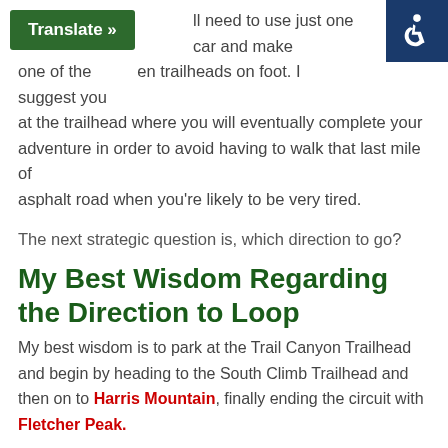ll need to use just one car and make one of the between trailheads on foot. I suggest you at the trailhead where you will eventually complete your adventure in order to avoid having to walk that last mile of asphalt road when you're likely to be very tired.
The next strategic question is, which direction to go?
My Best Wisdom Regarding the Direction to Loop
My best wisdom is to park at the Trail Canyon Trailhead and begin by heading to the South Climb Trailhead and then on to Harris Mountain, finally ending the circuit with Fletcher Peak.
However, both directions have their advantages and disadvantages and here they are.
Parking at the Trail Canyon